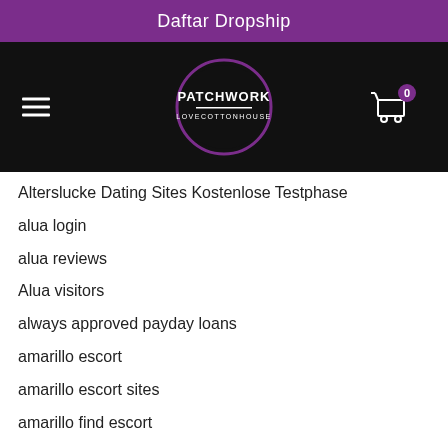Daftar Dropship
[Figure (logo): Patchwork Love Cotton House logo - circular logo with text on black navigation bar with hamburger menu and cart icon]
Alterslucke Dating Sites Kostenlose Testphase
alua login
alua reviews
Alua visitors
always approved payday loans
amarillo escort
amarillo escort sites
amarillo find escort